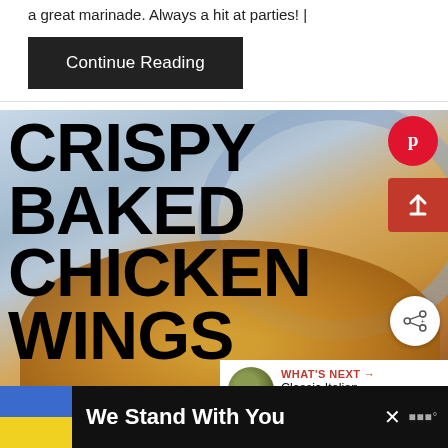a great marinade. Always a hit at parties! |
Continue Reading
[Figure (photo): Crispy Baked Chicken Wings on a blue and white decorative plate, with bold black text overlay reading CRISPY BAKED CHICKEN WINGS. Includes Pinterest button, share/upload button, share-plus button, and a 'What's Next' panel showing Classic Italian Spaghetti...]
We Stand With You